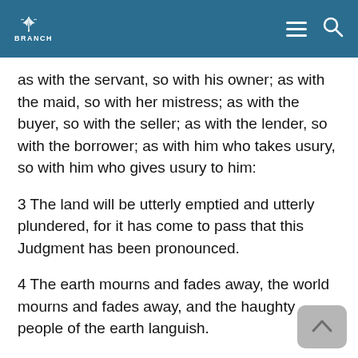BRANCH
as with the servant, so with his owner; as with the maid, so with her mistress; as with the buyer, so with the seller; as with the lender, so with the borrower; as with him who takes usury, so with him who gives usury to him:
3 The land will be utterly emptied and utterly plundered, for it has come to pass that this Judgment has been pronounced.
4 The earth mourns and fades away, the world mourns and fades away, and the haughty people of the earth languish.
5 The earth also is defiled under the inhabitants of it, because they have transgressed the Laws, changed